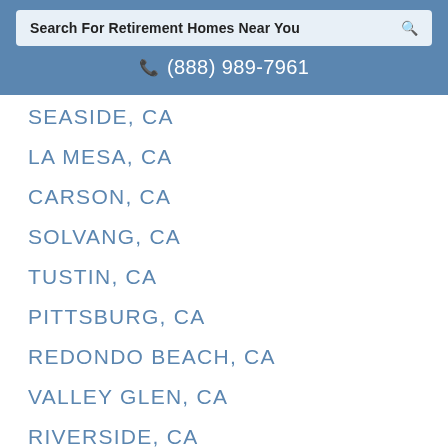Search For Retirement Homes Near You
(888) 989-7961
SEASIDE, CA
LA MESA, CA
CARSON, CA
SOLVANG, CA
TUSTIN, CA
PITTSBURG, CA
REDONDO BEACH, CA
VALLEY GLEN, CA
RIVERSIDE, CA
SAN GABRIEL, CA
DIAMOND BAR, CA